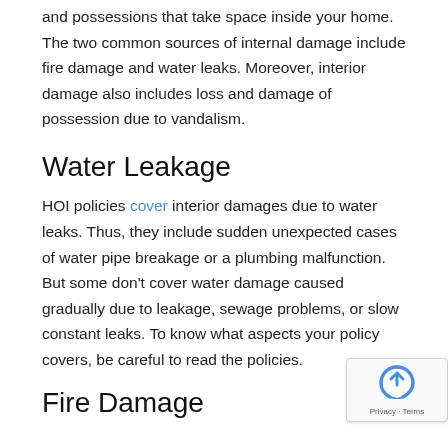and possessions that take space inside your home. The two common sources of internal damage include fire damage and water leaks. Moreover, interior damage also includes loss and damage of possession due to vandalism.
Water Leakage
HOI policies cover interior damages due to water leaks. Thus, they include sudden unexpected cases of water pipe breakage or a plumbing malfunction. But some don't cover water damage caused gradually due to leakage, sewage problems, or slow constant leaks. To know what aspects your policy covers, be careful to read the policies.
Fire Damage